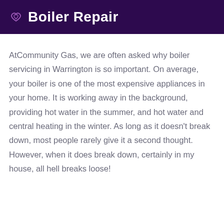Boiler Repair
AtCommunity Gas, we are often asked why boiler servicing in Warrington is so important. On average, your boiler is one of the most expensive appliances in your home. It is working away in the background, providing hot water in the summer, and hot water and central heating in the winter. As long as it doesn't break down, most people rarely give it a second thought. However, when it does break down, certainly in my house, all hell breaks loose!